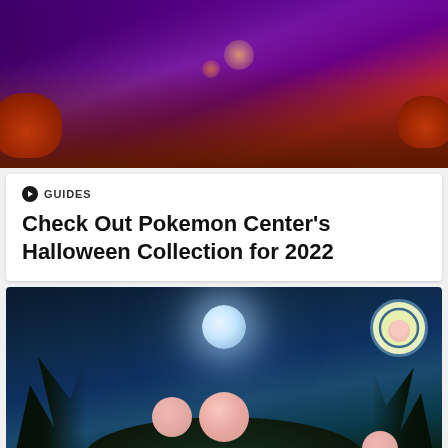[Figure (photo): Halloween-themed Pokemon Center promotional image with various Pokemon and pumpkins in purple and red tones]
GUIDES
Check Out Pokemon Center's Halloween Collection for 2022
[Figure (photo): Clefairy Pokemon standing on a mossy hill under a full moon at night, with Pokemon logo at bottom left and a Clefairy badge icon in top right corner]